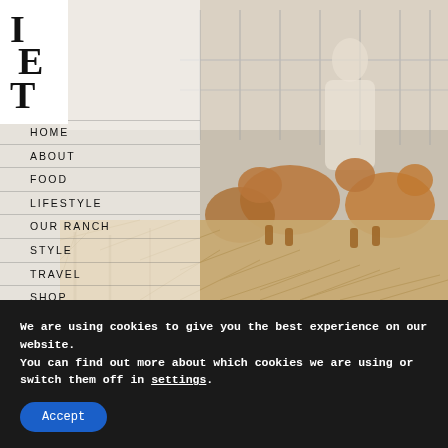[Figure (photo): Website screenshot showing a navigation menu overlay on a photo of a person with golden retriever dogs on a wooden deck/pier. The top-left shows a partial logo with letters I, E, T. Navigation items listed: HOME, ABOUT, FOOD, LIFESTYLE, OUR RANCH, STYLE, TRAVEL, SHOP, HOLIDAYS.]
HOME
ABOUT
FOOD
LIFESTYLE
OUR RANCH
STYLE
TRAVEL
SHOP
HOLIDAYS
We are using cookies to give you the best experience on our website.
You can find out more about which cookies we are using or switch them off in settings.
Accept